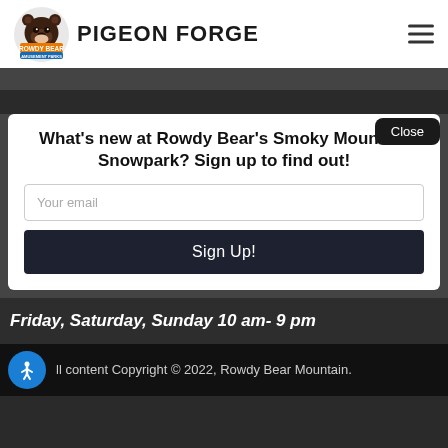Rowdy Bear Amusement Parks - PIGEON FORGE
What's new at Rowdy Bear's Smoky Mountain Snowpark? Sign up to find out!
Your email
Sign Up!
Close
Friday, Saturday, Sunday 10 am- 9 pm
ll content Copyright © 2022, Rowdy Bear Mountain.